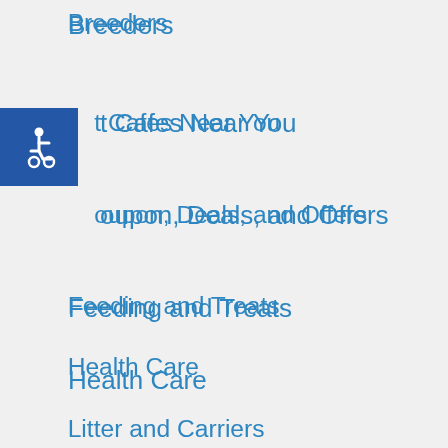Breeders
[Figure (illustration): Accessibility icon button - blue square with wheelchair accessibility symbol in white]
Cat Cafes Near You
Coupon, Deals, and Offers
Feeding and Treats
Health Care
Litter and Carriers
Toys
Looking For the Puurfect Kitty?
If you're considering adopting a new kitty, please check out some of our breeder pages